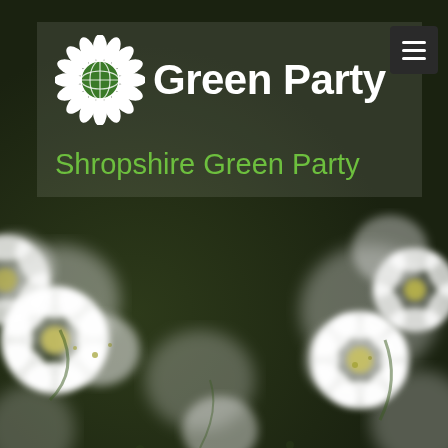[Figure (photo): Macro photograph of white flowers with green leaves in blurred background, used as page background]
[Figure (logo): Green Party logo: white sunflower/sun emblem with globe center and 'Green Party' text in white bold font, on semi-transparent dark banner]
Shropshire Green Party